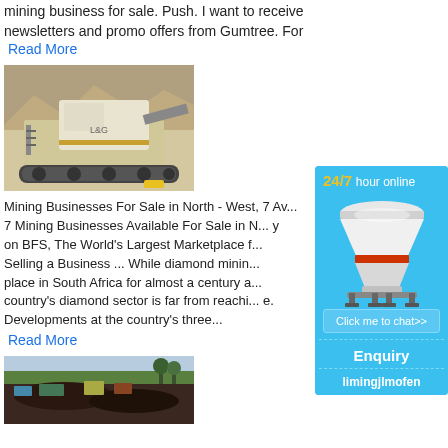mining business for sale. Push. I want to receive newsletters and promo offers from Gumtree. For
Read More
[Figure (photo): A large mobile mining crusher machine on tracks at a mine site with rocky terrain in background]
Mining Businesses For Sale in North - West, 7 Available 7 Mining Businesses Available For Sale in N... y on BFS, The World's Largest Marketplace f... Selling a Business ... While diamond mining place in South Africa for almost a century a... country's diamond sector is far from reachi...e. Developments at the country's three...
Read More
[Figure (photo): An open-pit mining operation with trucks and excavators working on dark soil/ore]
[Figure (infographic): Blue advertisement widget showing '24/7 hour online', a cone crusher machine image, 'Click me to chat>>' button, 'Enquiry' text, and 'limingjlmofen' branding]